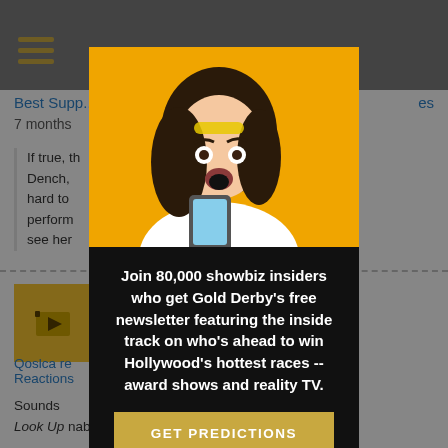[Figure (screenshot): Website screenshot showing Gold Derby page with hamburger menu and grey top bar]
Best Supp...
7 months
If true, t... or Dench, ... hard to ... performance... we'll see her...
[Figure (photo): Woman with surprised expression holding a phone against yellow background - Gold Derby newsletter popup]
Join 80,000 showbiz insiders who get Gold Derby's free newsletter featuring the inside track on who's ahead to win Hollywood's hottest races -- award shows and reality TV.
GET PREDICTIONS
No thanks
[Figure (other): Gold Derby camera icon thumbnail in yellow square]
Qoslca re... Reactions...
Sounds about right, with a possible spoiler of Don't Look Up nabbing Editing and then Picture. I could see